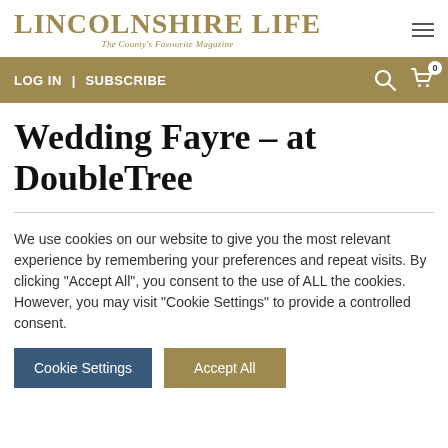LINCOLNSHIRE LIFE — The County's Favourite Magazine
LOG IN | SUBSCRIBE
Wedding Fayre – at DoubleTree
We use cookies on our website to give you the most relevant experience by remembering your preferences and repeat visits. By clicking "Accept All", you consent to the use of ALL the cookies. However, you may visit "Cookie Settings" to provide a controlled consent.